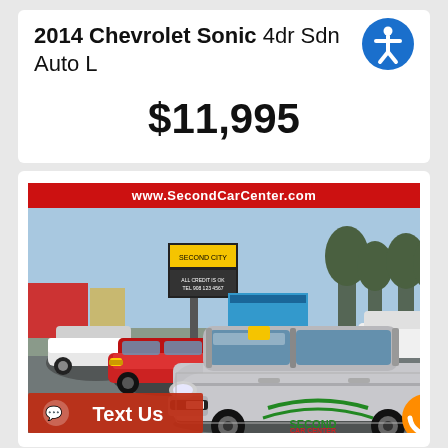2014 Chevrolet Sonic 4dr Sdn Auto L
$11,995
[Figure (photo): Photo of a silver 2014 Chevrolet Sonic sedan at Second Car Center dealership lot, with a red Chevrolet Cruze visible on the left, other cars in the background, and a dealership sign. A red 'www.SecondCarCenter.com' banner appears at top of the photo. A 'Text Us' button overlay appears at the bottom left, and the Second Car Center logo is visible at the bottom of the photo.]